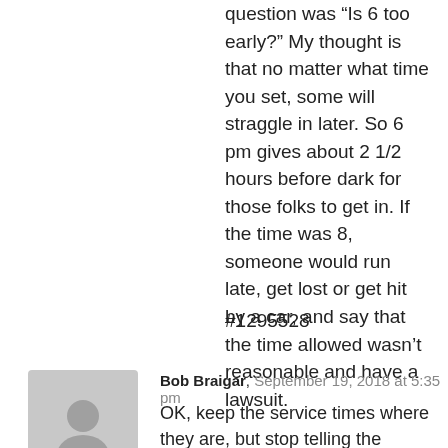question was “Is 6 too early?” My thought is that no matter what time you set, some will straggle in later. So 6 pm gives about 2 1/2 hours before dark for those folks to get in. If the time was 8, someone would run late, get lost or get hit by a car, and say that the time allowed wasn’t reasonable and have a lawsuit.
#1295528
[Figure (illustration): Gray avatar placeholder icon showing a silhouette of a person]
Bob Braigar, September 19, 2018 at 5:35 pm
OK, keep the service times where they are, but stop telling the police to coerce people into leaving a town, and stop telling towns people to close their businesses for an hour